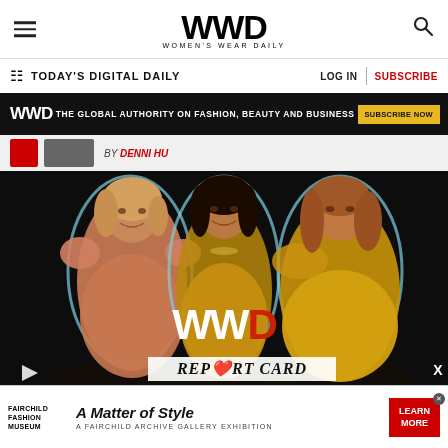WWD — Women's Wear Daily
TODAY'S DIGITAL DAILY | LOG IN | SUBSCRIBE
[Figure (infographic): WWD ad banner: black background with text 'THE GLOBAL AUTHORITY ON FASHION, BEAUTY AND BUSINESS' and 'SUBSCRIBE NOW' button]
BY DENNI HU
[Figure (photo): Three women in glamorous dresses against dark background with WWD logo overlay and 'REPORT CARD' text]
[Figure (infographic): Fairchild Fashion Museum advertisement: 'A Matter of Style — A Fairchild Archive Gallery Exhibition' with LEARN MORE button]